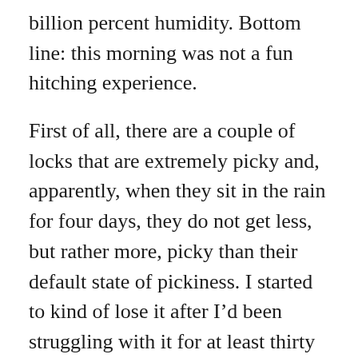billion percent humidity. Bottom line: this morning was not a fun hitching experience.
First of all, there are a couple of locks that are extremely picky and, apparently, when they sit in the rain for four days, they do not get less, but rather more, picky than their default state of pickiness. I started to kind of lose it after I'd been struggling with it for at least thirty minutes and was already drenched in sweat. This would have been around 9 am. I ended up calling Richard in a panic and sending him pictures of the hitch lock to see if I was doing something wrong. I really wasn't sure what